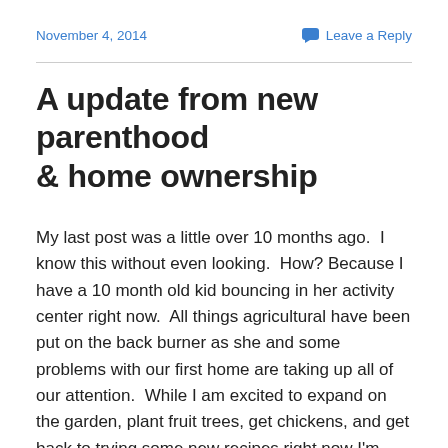November 4, 2014
Leave a Reply
A update from new parenthood & home ownership
My last post was a little over 10 months ago.  I know this without even looking.  How? Because I have a 10 month old kid bouncing in her activity center right now.  All things agricultural have been put on the back burner as she and some problems with our first home are taking up all of our attention.  While I am excited to expand on the garden, plant fruit trees, get chickens, and get back to trying some new recipes right now I'm washing diapers, picking up choke-able sized objects from the floor, and figuring out